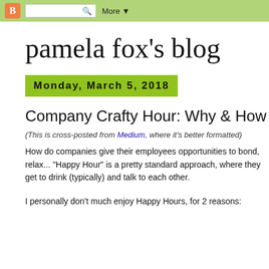Blogger navbar with search and More button
pamela fox's blog
Monday, March 5, 2018
Company Crafty Hour: Why & How
(This is cross-posted from Medium, where it's better formatted)
How do companies give their employees opportunities to bond, relax... "Happy Hour" is a pretty standard approach, where they get to drink (typically) and talk to each other.
I personally don't much enjoy Happy Hours, for 2 reasons: